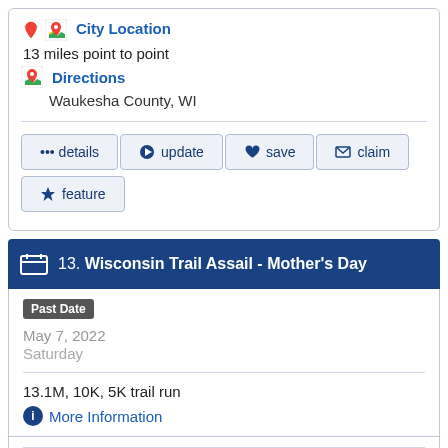🗺 City Location
13 miles point to point
🗺 Directions
Waukesha County, WI
••• details
➡ update
♥ save
✉ claim
★ feature
13. Wisconsin Trail Assail - Mother's Day
Past Date
May 7, 2022
Saturday
13.1M, 10K, 5K trail run
ℹ More Information
Nashotah, WI
City Location